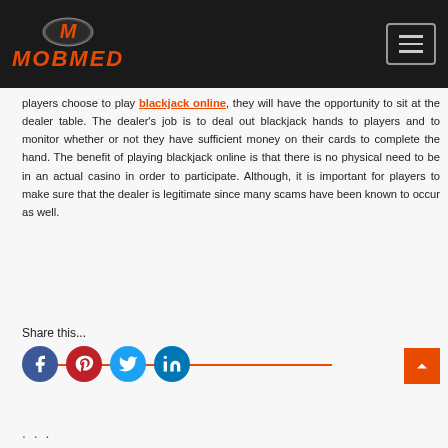MOBMED
players choose to play blackjack online, they will have the opportunity to sit at the dealer table. The dealer's job is to deal out blackjack hands to players and to monitor whether or not they have sufficient money on their cards to complete the hand. The benefit of playing blackjack online is that there is no physical need to be in an actual casino in order to participate. Although, it is important for players to make sure that the dealer is legitimate since many scams have been known to occur as well.
Share this...
[Figure (other): Social media share icons: Facebook, Pinterest, Twitter, LinkedIn with orange horizontal line through them]